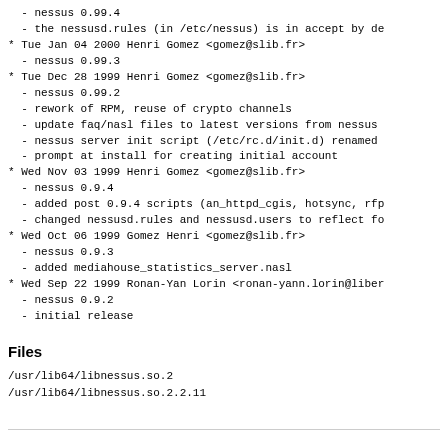- nessus 0.99.4
- the nessusd.rules (in /etc/nessus) is in accept by de
* Tue Jan 04 2000 Henri Gomez <gomez@slib.fr>
  - nessus 0.99.3
* Tue Dec 28 1999 Henri Gomez <gomez@slib.fr>
  - nessus 0.99.2
  - rework of RPM, reuse of crypto channels
  - update faq/nasl files to latest versions from nessus
  - nessus server init script (/etc/rc.d/init.d) renamed
  - prompt at install for creating initial account
* Wed Nov 03 1999 Henri Gomez <gomez@slib.fr>
  - nessus 0.9.4
  - added post 0.9.4 scripts (an_httpd_cgis, hotsync, rfp
  - changed nessusd.rules and nessusd.users to reflect fo
* Wed Oct 06 1999 Gomez Henri <gomez@slib.fr>
  - nessus 0.9.3
  - added mediahouse_statistics_server.nasl
* Wed Sep 22 1999 Ronan-Yan Lorin <ronan-yann.lorin@liber
  - nessus 0.9.2
  - initial release
Files
/usr/lib64/libnessus.so.2
/usr/lib64/libnessus.so.2.2.11